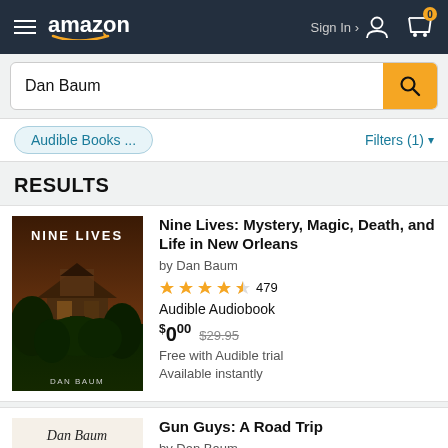Amazon header with hamburger menu, Amazon logo, Sign In, and cart icon
Dan Baum (search query)
Audible Books ...  |  Filters (1)
RESULTS
[Figure (screenshot): Book cover for Nine Lives showing a dilapidated house with foliage, text NINE LIVES and DAN BAUM]
Nine Lives: Mystery, Magic, Death, and Life in New Orleans
by Dan Baum
★★★★½ 479
Audible Audiobook
$0.00 $29.95
Free with Audible trial
Available instantly
[Figure (screenshot): Book cover for Gun Guys showing Dan Baum handwriting and GUN GUYS text on a red/white background]
Gun Guys: A Road Trip
by Dan Baum
★★★★½ 138
Audible Audiobook